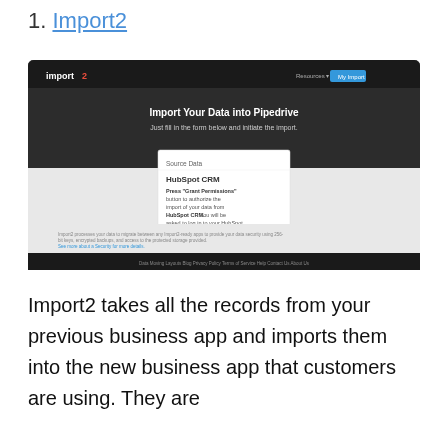1. Import2
[Figure (screenshot): Screenshot of the Import2 website showing a page titled 'Import Your Data into Pipedrive' with subtitle 'Just fill in the form below and initiate the import.' A dialog box shows Source Data: HubSpot CRM with instructions to press 'Grant Permissions' button to authorize the import of your data from HubSpot CRM. There is a blue 'Grant Permissions' button and a Cancel link. The page has a dark header with the Import2 logo and a light/dark color scheme.]
Import2 takes all the records from your previous business app and imports them into the new business app that customers are using. They are